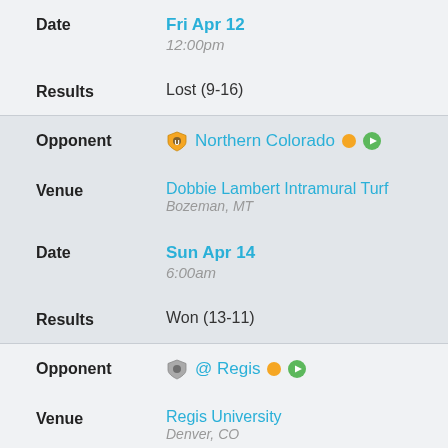Date: Fri Apr 12 / 12:00pm
Results: Lost (9-16)
Opponent: Northern Colorado
Venue: Dobbie Lambert Intramural Turf, Bozeman, MT
Date: Sun Apr 14 / 6:00am
Results: Won (13-11)
Opponent: @ Regis
Venue: Regis University, Denver, CO
Date: Sat Apr 20 / 9:00am